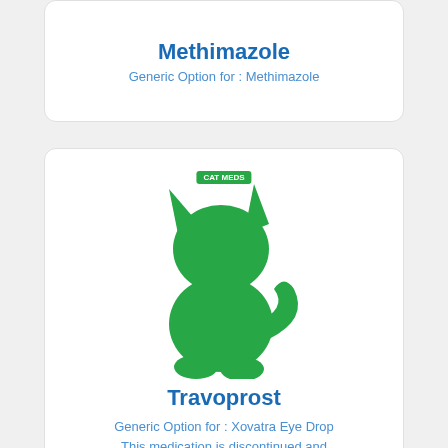Methimazole
Generic Option for : Methimazole
[Figure (illustration): Green cat silhouette icon with CAT MEDS badge label, representing a cat medication listing for Travoprost]
Travoprost
Generic Option for : Xovatra Eye Drop
This medication is discontinued and cannot be supplied by ABCpetmeds
[Figure (illustration): Green cat silhouette icon with CAT MEDS badge label, representing another cat medication listing]